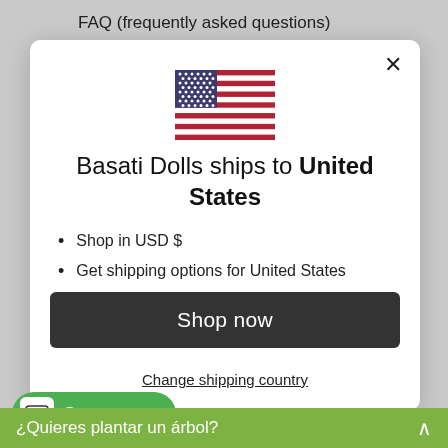FAQ (frequently asked questions)
[Figure (illustration): US flag icon]
Basati Dolls ships to United States
Shop in USD $
Get shipping options for United States
Shop now
Change shipping country
Support me
¿Quieres plantar un árbol?